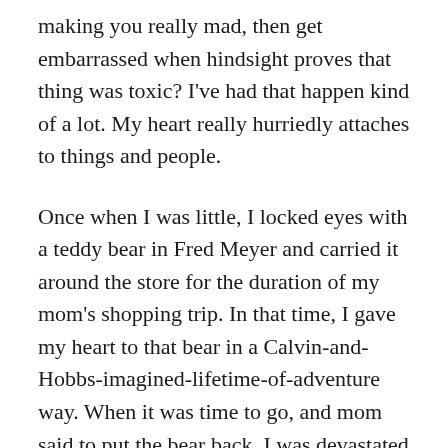making you really mad, then get embarrassed when hindsight proves that thing was toxic? I've had that happen kind of a lot. My heart really hurriedly attaches to things and people.
Once when I was little, I locked eyes with a teddy bear in Fred Meyer and carried it around the store for the duration of my mom's shopping trip. In that time, I gave my heart to that bear in a Calvin-and-Hobbs-imagined-lifetime-of-adventure way. When it was time to go, and mom said to put the bear back, I was devastated and started to cry hysterically. This was about to be the deepest tragedy of my young life. My mom eventually caved, to the disapproval of my sisters, and childhood was saved.